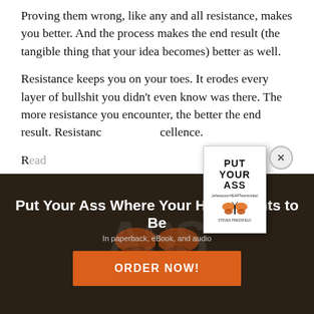Proving them wrong, like any and all resistance, makes you better. And the process makes the end result (the tangible thing that your idea becomes) better as well.
Resistance keeps you on your toes. It erodes every layer of bullshit you didn't even know was there. The more resistance you encounter, the better the end result. Resistance [breeds ex]cellence.
Put Your Ass Where Your Heart Wants to Be
In paperback, eBook, and audio
ORDER NOW!
[Figure (photo): Dark background promotional banner for 'Put Your Ass Where Your Heart Wants to Be' book with large faded letters 'ASS' and butterfly imagery, with overlaid book cover popup and close button]